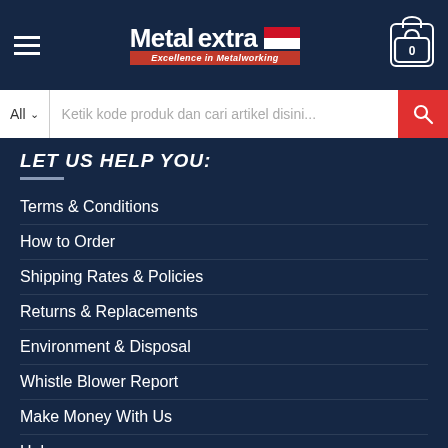[Figure (screenshot): Metalextra website header with logo, hamburger menu, cart icon]
Ketik kode produk dan cari artikel disini...
LET US HELP YOU:
Terms & Conditions
How to Order
Shipping Rates & Policies
Returns & Replacements
Environment & Disposal
Whistle Blower Report
Make Money With Us
Help